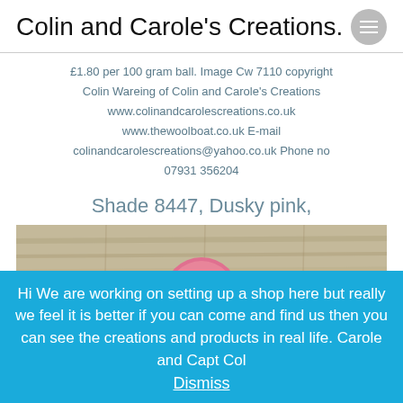Colin and Carole's Creations.
£1.80 per 100 gram ball. Image Cw 7110 copyright Colin Wareing of Colin and Carole's Creations www.colinandcarolescreations.co.uk www.thewoolboat.co.uk E-mail colinandcarolescreations@yahoo.co.uk Phone no 07931 356204
Shade 8447, Dusky pink,
[Figure (photo): Photo of a pink yarn/wool ball on a wooden plank background]
Hi We are working on setting up a shop here but really we feel it is better if you can come and find us then you can see the creations and products in real life. Carole and Capt Col Dismiss